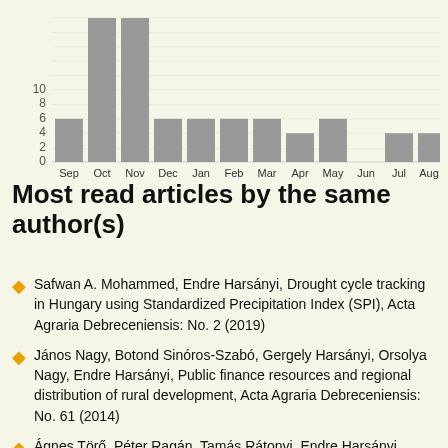[Figure (bar-chart): Monthly reads]
Most read articles by the same author(s)
Safwan A. Mohammed, Endre Harsányi, Drought cycle tracking in Hungary using Standardized Precipitation Index (SPI), Acta Agraria Debreceniensis: No. 2 (2019)
János Nagy, Botond Sinóros-Szabó, Gergely Harsányi, Orsolya Nagy, Endre Harsányi, Public finance resources and regional distribution of rural development, Acta Agraria Debreceniensis: No. 61 (2014)
Ágnes Törő, Péter Ragán, Tamás Rátonyi, Endre Harsányi, Examinations of the carbon dioxide emission